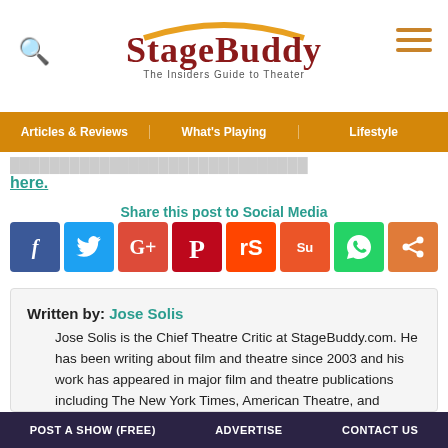[Figure (logo): StageBuddy logo with tagline 'The Insiders Guide to Theater']
Articles & Reviews | What's Playing | Lifestyle
here.
Share this post to Social Media
[Figure (infographic): Social media share buttons: Facebook, Twitter, Google+, Pinterest, Reddit, StumbleUpon, WhatsApp, Share]
Written by: Jose Solis
Jose Solis is the Chief Theatre Critic at StageBuddy.com. He has been writing about film and theatre since 2003 and his work has appeared in major film and theatre publications including The New York Times, American Theatre, and Backstage. He is a member of the Drama Desk, the Society of LGBTQ Entertainment Critics, and the Online Film Critics Society. When he's not at a show, a screening or writing about all the art he loves, you can find
POST A SHOW (FREE)   ADVERTISE   CONTACT US